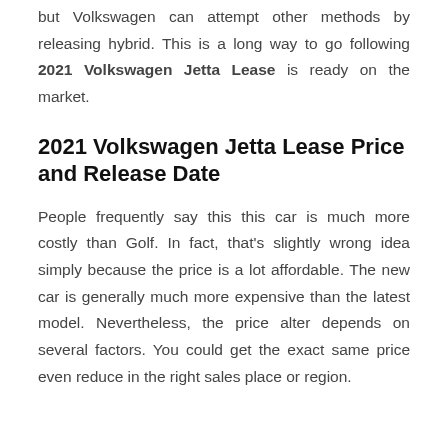but Volkswagen can attempt other methods by releasing hybrid. This is a long way to go following 2021 Volkswagen Jetta Lease is ready on the market.
2021 Volkswagen Jetta Lease Price and Release Date
People frequently say this this car is much more costly than Golf. In fact, that's slightly wrong idea simply because the price is a lot affordable. The new car is generally much more expensive than the latest model. Nevertheless, the price alter depends on several factors. You could get the exact same price even reduce in the right sales place or region.